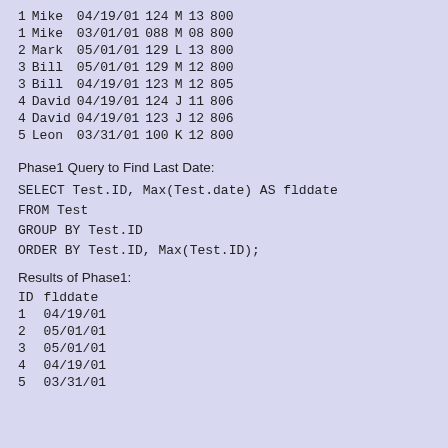| 1 | Mike | 04/19/01 | 124 | M | 13 | 800 |
| 1 | Mike | 03/01/01 | 088 | M | 08 | 800 |
| 2 | Mark | 05/01/01 | 129 | L | 13 | 800 |
| 3 | Bill | 05/01/01 | 129 | M | 12 | 800 |
| 3 | Bill | 04/19/01 | 123 | M | 12 | 805 |
| 4 | David | 04/19/01 | 124 | J | 11 | 806 |
| 4 | David | 04/19/01 | 123 | J | 12 | 806 |
| 5 | Leon | 03/31/01 | 100 | K | 12 | 800 |
Phase1 Query to Find Last Date:
SELECT Test.ID, Max(Test.date) AS flddate
FROM Test
GROUP BY Test.ID
ORDER BY Test.ID, Max(Test.ID);
Results of Phase1:
| ID | flddate |
| --- | --- |
| 1 | 04/19/01 |
| 2 | 05/01/01 |
| 3 | 05/01/01 |
| 4 | 04/19/01 |
| 5 | 03/31/01 |